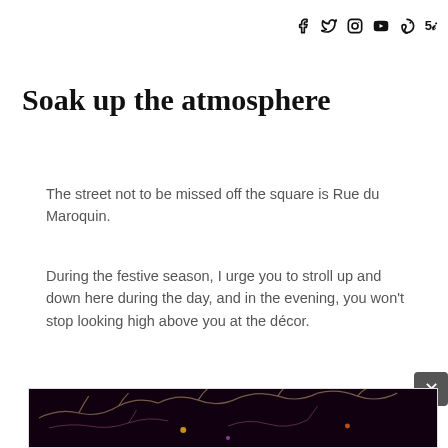f  twitter  instagram  youtube  pinterest  500px
Soak up the atmosphere
The street not to be missed off the square is Rue du Maroquin.
During the festive season, I urge you to stroll up and down here during the day, and in the evening, you won't stop looking high above you at the décor.
[Figure (photo): Dark atmospheric photo showing illuminated branches against a very dark background, with colorful light decorations]